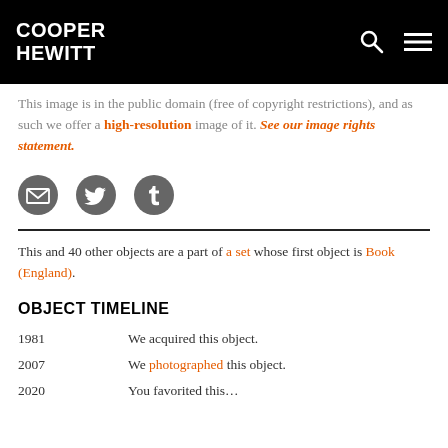COOPER HEWITT
This image is in the public domain (free of copyright restrictions), and as such we offer a high-resolution image of it. See our image rights statement.
[Figure (other): Social sharing icons: email (envelope), Twitter bird, Tumblr logo]
This and 40 other objects are a part of a set whose first object is Book (England).
OBJECT TIMELINE
| Year | Event |
| --- | --- |
| 1981 | We acquired this object. |
| 2007 | We photographed this object. |
| 2020 | You favorited this... |